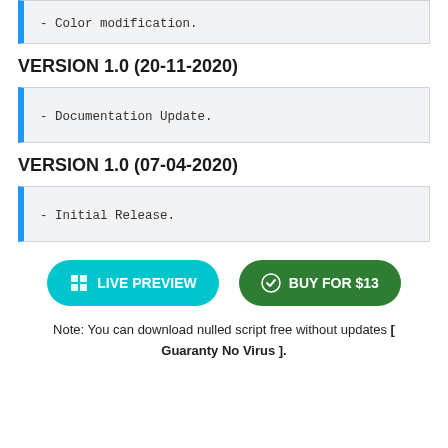- Color modification.
VERSION 1.0 (20-11-2020)
- Documentation Update.
VERSION 1.0 (07-04-2020)
- Initial Release.
LIVE PREVIEW   BUY FOR $13
Note: You can download nulled script free without updates [ Guaranty No Virus ].